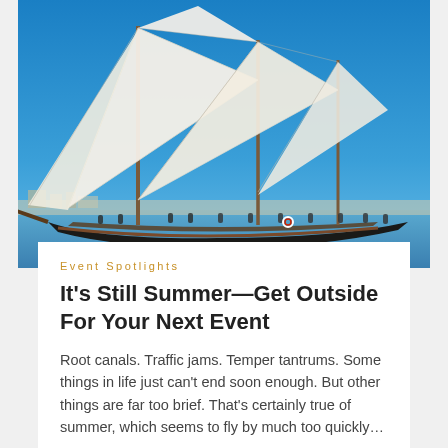[Figure (photo): A large classic sailing schooner with tall white sails fully deployed against a bright blue sky. The boat has a dark hull and wooden deck with many passengers visible along the rail. A marina and shoreline are visible in the background.]
Event Spotlights
It's Still Summer—Get Outside For Your Next Event
Root canals. Traffic jams. Temper tantrums. Some things in life just can't end soon enough. But other things are far too brief. That's certainly true of summer, which seems to fly by much too quickly...